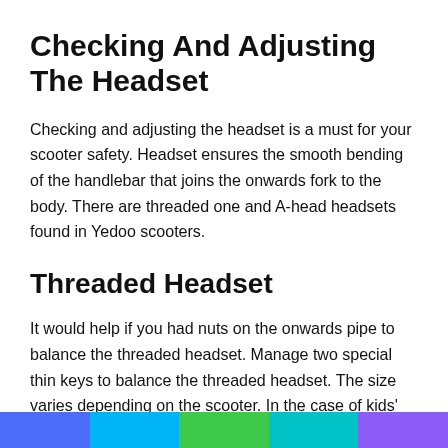Checking And Adjusting The Headset
Checking and adjusting the headset is a must for your scooter safety. Headset ensures the smooth bending of the handlebar that joins the onwards fork to the body. There are threaded one and A-head headsets found in Yedoo scooters.
Threaded Headset
It would help if you had nuts on the onwards pipe to balance the threaded headset. Manage two special thin keys to balance the threaded headset. The size varies depending on the scooter. In the case of kids' scooters, the size is 32mm. But for the adult scooters, the size is 36mm.